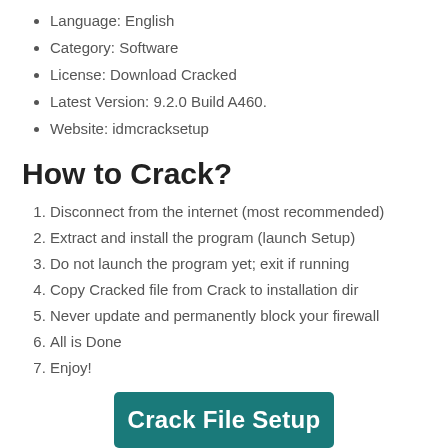Language: English
Category: Software
License: Download Cracked
Latest Version: 9.2.0 Build A460.
Website: idmcracksetup
How to Crack?
Disconnect from the internet (most recommended)
Extract and install the program (launch Setup)
Do not launch the program yet; exit if running
Copy Cracked file from Crack to installation dir
Never update and permanently block your firewall
All is Done
Enjoy!
Crack File Setup